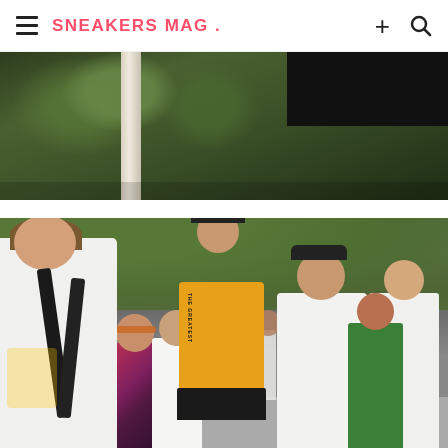SNEAKERS MAG .
[Figure (photo): Outdoor scene with trees and architectural pillar/column, partial view with dark structure at top right]
[Figure (photo): Crowd of people outdoors at what appears to be a sneaker event or fair, with green trees in background. Central figure wearing a yellow long-sleeve shirt with gothic text reading 'THE GREATEST' on the sleeve/back. Various people in casual streetwear.]